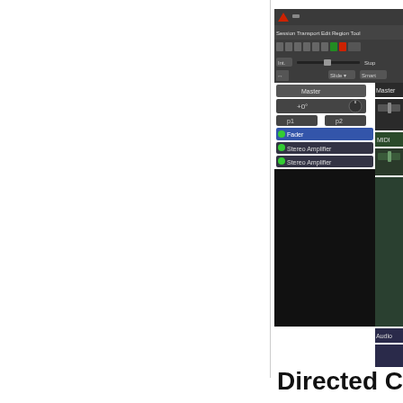[Figure (screenshot): Ardour DAW software interface screenshot showing mixer/editor window with Master channel fader, Stereo Amplifier plugins, MIDI and Audio sections in a dark-themed UI]
Directed Chok